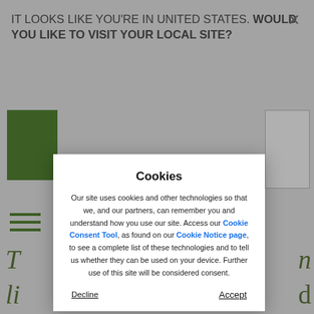IT LOOKS LIKE YOU'RE IN UNITED STATES. WOULD YOU LIKE TO VISIT YOUR LOCAL SITE?
[Figure (screenshot): Green logo block and white rectangle visible in background behind cookie modal]
Cookies
Our site uses cookies and other technologies so that we, and our partners, can remember you and understand how you use our site. Access our Cookie Consent Tool, as found on our Cookie Notice page, to see a complete list of these technologies and to tell us whether they can be used on your device. Further use of this site will be considered consent.
Decline
Accept
yourself, how can I be on point and really live it up at the French Open? Well, you're in luck. The little green bottle has been